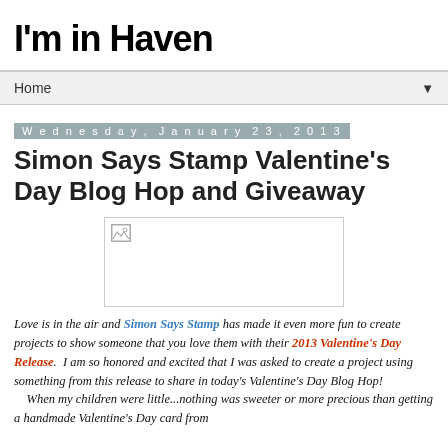I'm in Haven
Home
Wednesday, January 23, 2013
Simon Says Stamp Valentine's Day Blog Hop and Giveaway
[Figure (photo): A broken/unloaded image placeholder representing a Valentine's Day project photo]
Love is in the air and Simon Says Stamp has made it even more fun to create projects to show someone that you love them with their 2013 Valentine's Day Release.  I am so honored and excited that I was asked to create a project using something from this release to share in today's Valentine's Day Blog Hop!
    When my children were little...nothing was sweeter or more precious than getting a handmade Valentine's Day card from